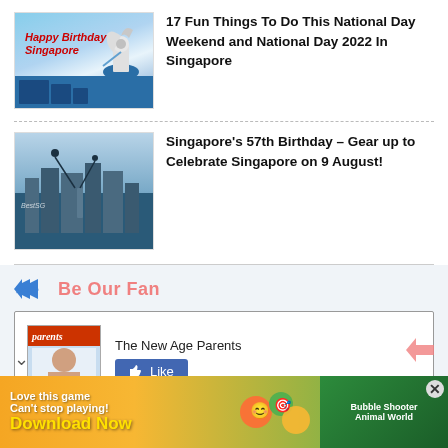[Figure (photo): Thumbnail image of Singapore Marina Bay Sands with Merlion and Happy Birthday Singapore text]
17 Fun Things To Do This National Day Weekend and National Day 2022 In Singapore
[Figure (photo): Thumbnail image of Singapore city skyline with aircraft flyby]
Singapore's 57th Birthday – Gear up to Celebrate Singapore on 9 August!
Be Our Fan
[Figure (screenshot): Facebook widget showing The New Age Parents page with Like button]
[Figure (photo): Advertisement banner: Love this game Can't stop playing! Download Now - Bubble Shooter Animal World]